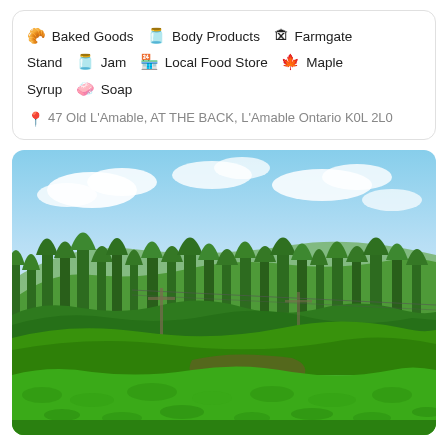🥐 Baked Goods  🫙 Body Products  🏚 Farmgate Stand  🫙 Jam  🏪 Local Food Store  🍁 Maple Syrup  🧼 Soap
47 Old L'Amable, AT THE BACK, L'Amable Ontario K0L 2L0
[Figure (photo): Landscape photograph showing a rural Ontario farm scene with dense green forest and trees covering rolling hills under a partly cloudy blue sky. In the foreground are green leafy crops or garden plants. Power lines are visible crossing the middle of the image.]